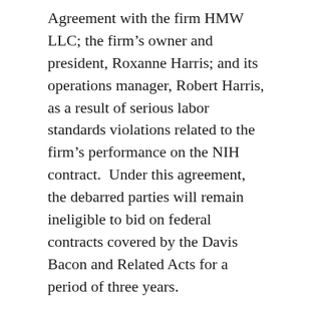Agreement with the firm HMW LLC; the firm's owner and president, Roxanne Harris; and its operations manager, Robert Harris, as a result of serious labor standards violations related to the firm's performance on the NIH contract. Under this agreement, the debarred parties will remain ineligible to bid on federal contracts covered by the Davis Bacon and Related Acts for a period of three years.
“Employers awarded federal contracts are aware of requirements such as the Davis Bacon and Related Acts and the Contract Work Hours and Safety Standards Act, and must certify that all employees on the job site receive the wages and benefits they are rightfully due,” said Wage and Hour Division District Director John DuMont in Pittsburgh. “In this case,